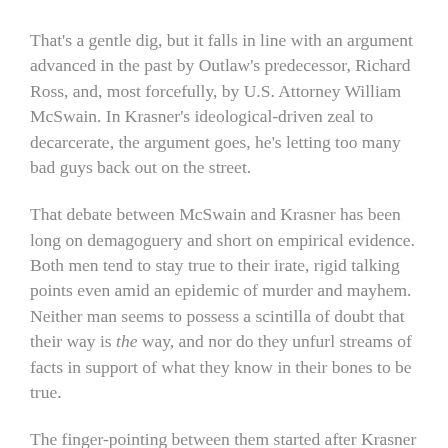That's a gentle dig, but it falls in line with an argument advanced in the past by Outlaw's predecessor, Richard Ross, and, most forcefully, by U.S. Attorney William McSwain. In Krasner's ideological-driven zeal to decarcerate, the argument goes, he's letting too many bad guys back out on the street.
That debate between McSwain and Krasner has been long on demagoguery and short on empirical evidence. Both men tend to stay true to their irate, rigid talking points even amid an epidemic of murder and mayhem. Neither man seems to possess a scintilla of doubt that their way is the way, and nor do they unfurl streams of facts in support of what they know in their bones to be true.
The finger-pointing between them started after Krasner inexplicably dropped attempted murder charges against a man who, in a 2018 attempted robbery, had shot